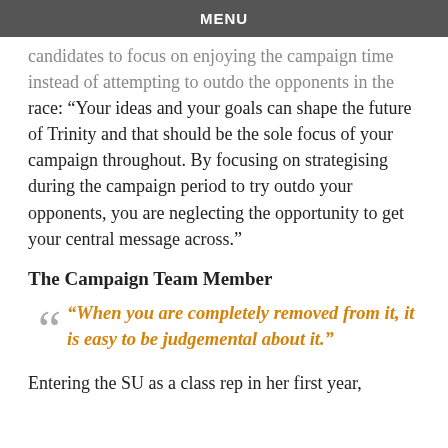MENU
candidates to focus on enjoying the campaign time instead of attempting to outdo the opponents in the race: “Your ideas and your goals can shape the future of Trinity and that should be the sole focus of your campaign throughout. By focusing on strategising during the campaign period to try outdo your opponents, you are neglecting the opportunity to get your central message across.”
The Campaign Team Member
“When you are completely removed from it, it is easy to be judgemental about it.”
Entering the SU as a class rep in her first year,